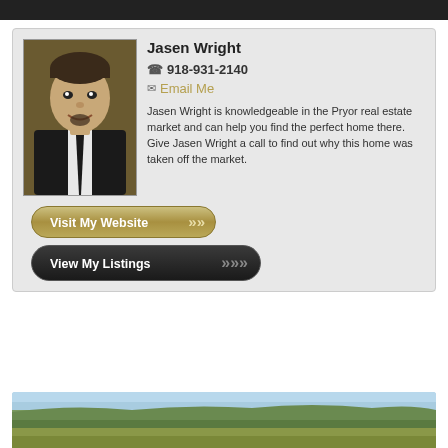[Figure (photo): Top dark banner, partially cropped]
[Figure (photo): Headshot photo of Jasen Wright, a man in a suit with a tie, smiling]
Jasen Wright
☎ 918-931-2140
✉ Email Me
Jasen Wright is knowledgeable in the Pryor real estate market and can help you find the perfect home there. Give Jasen Wright a call to find out why this home was taken off the market.
Visit My Website
View My Listings
[Figure (photo): Landscape photo showing a rural countryside scene with trees and open fields under a partly cloudy sky]